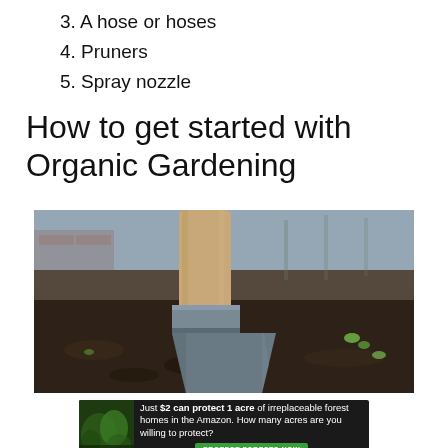3. A hose or hoses
4. Pruners
5. Spray nozzle
How to get started with Organic Gardening
[Figure (photo): Close-up photo of a metal spade/shovel head inserted into dark garden soil, with small green seedlings visible in the background. Wooden handle visible at top. Shallow depth of field with blurred background.]
[Figure (infographic): Advertisement banner: 'Just $2 can protect 1 acre of irreplaceable forest homes in the Amazon. How many acres are you willing to protect?' with a green 'PROTECT FORESTS NOW' button and an image of forest/greenery on the left.]